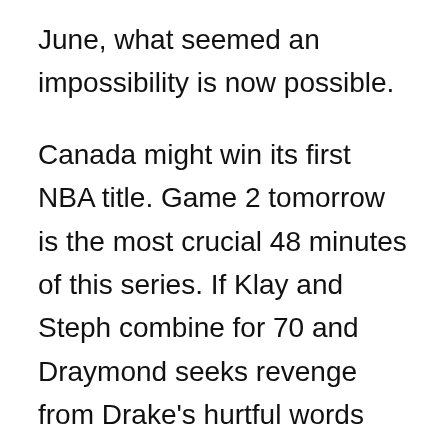June, what seemed an impossibility is now possible.
Canada might win its first NBA title. Game 2 tomorrow is the most crucial 48 minutes of this series. If Klay and Steph combine for 70 and Draymond seeks revenge from Drake's hurtful words and records another triple-double and Igoudala is free of his calf injury and contributes tomorrow for a Golden State win, then the basketball planets will be aligned and will rotate back to its original axis. The Warriors will win 4